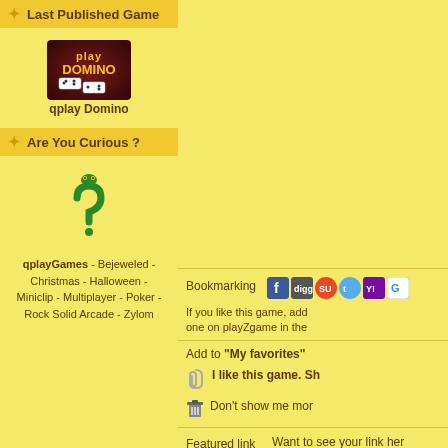Last Published Game
[Figure (photo): Thumbnail image of qplay Domino game showing domino tiles on dark background]
qplay Domino
Are You Curious ?
[Figure (illustration): Green question mark with snake/dragon head decoration]
qplayGames - Bejeweled - Christmas - Halloween - Miniclip - Multiplayer - Poker - Rock Solid Arcade - Zylom
Bookmarking
[Figure (infographic): Social bookmarking icons: Facebook, Digg, StumbleUpon, Twitter, Yahoo, Google]
If you like this game, add one on playZgame in the
Add to "My favorites"
I like this game. Sh
Don't show me mor
Featured link
Want to see your link her
Game Info
Ga
[Figure (screenshot): Mini Pool 2 game thumbnail showing pool table]
Mini Pool 2